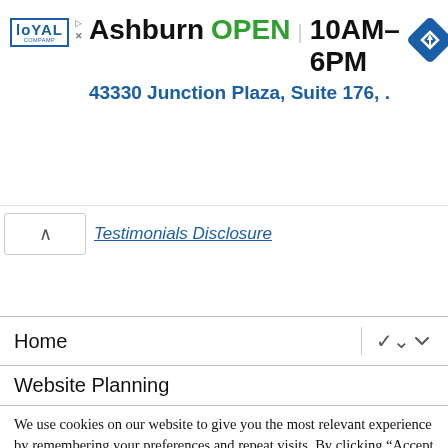[Figure (other): Advertisement banner: Loyal company logo, Ashburn location showing OPEN 10AM-6PM, address 43330 Junction Plaza, Suite 176, with navigation icon and close controls]
Testimonials Disclosure
Home
Website Planning
We use cookies on our website to give you the most relevant experience by remembering your preferences and repeat visits. By clicking "Accept All", you consent to the use of ALL the cookies. However, you may visit "Cookie Settings" to provide a controlled consent.